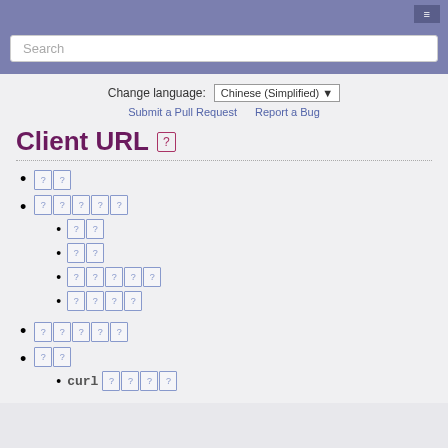Search
Change language: Chinese (Simplified)
Submit a Pull Request   Report a Bug
Client URL
[?][?]
[?][?][?][?][?]
[?][?] (sub)
[?][?] (sub)
[?][?][?][?][?] (sub)
[?][?][?][?] (sub)
[?][?][?][?][?]
[?][?]
curl [?][?][?][?]